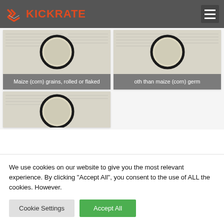[Figure (logo): Kickrate logo with stylized chevron/arrow icon in orange-red and KICKRATE text in orange-red, on dark grey header bar]
[Figure (photo): Product card image showing grain/cereal with a circular bowl overlay on a paper/document background, labeled: Maize (corn) grains, rolled or flaked]
[Figure (photo): Product card image showing grain/cereal with a circular bowl overlay on a paper/document background, labeled: oth than maize (corn) germ]
[Figure (photo): Partial product card image showing grain/cereal with a circular bowl overlay on a paper/document background (card is cut off)]
We use cookies on our website to give you the most relevant experience. By clicking "Accept All", you consent to the use of ALL the cookies. However.
Cookie Settings | Accept All